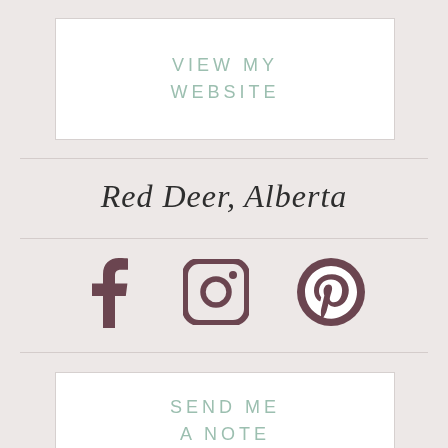VIEW MY WEBSITE
Red Deer, Alberta
[Figure (illustration): Three social media icons: Facebook (f), Instagram (camera icon), Pinterest (p circle)]
SEND ME A NOTE